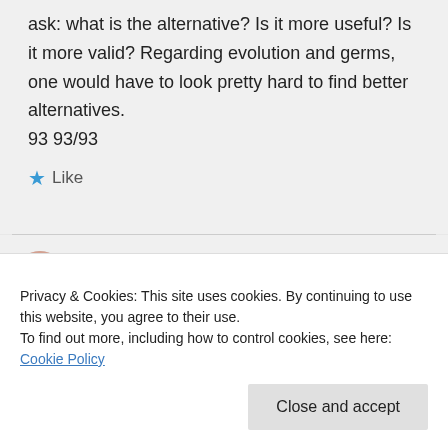ask: what is the alternative? Is it more useful? Is it more valid? Regarding evolution and germs, one would have to look pretty hard to find better alternatives.
93 93/93
Like
IAO131 on July 4, 2012 at 2:53 pm
Privacy & Cookies: This site uses cookies. By continuing to use this website, you agree to their use.
To find out more, including how to control cookies, see here: Cookie Policy